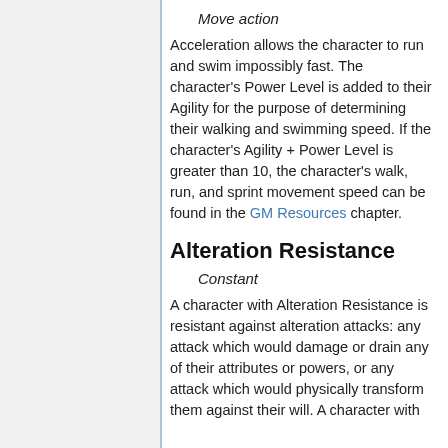Move action
Acceleration allows the character to run and swim impossibly fast. The character's Power Level is added to their Agility for the purpose of determining their walking and swimming speed. If the character's Agility + Power Level is greater than 10, the character's walk, run, and sprint movement speed can be found in the GM Resources chapter.
Alteration Resistance
Constant
A character with Alteration Resistance is resistant against alteration attacks: any attack which would damage or drain any of their attributes or powers, or any attack which would physically transform them against their will. A character with